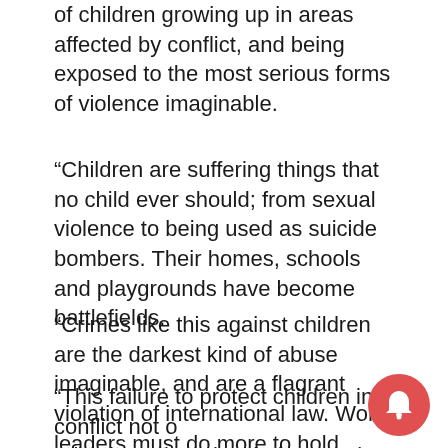of children growing up in areas affected by conflict, and being exposed to the most serious forms of violence imaginable.
“Children are suffering things that no child ever should; from sexual violence to being used as suicide bombers. Their homes, schools and playgrounds have become battlefields.
“Crimes like this against children are the darkest kind of abuse imaginable, and are a flagrant violation of international law. World leaders must do more to hold perpetrators accountable.
“This failure to protect children in conflict not only robs them, but also their countries—and the entire